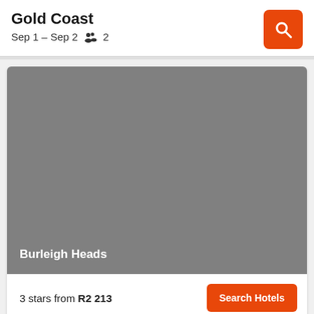Gold Coast
Sep 1 – Sep 2   2
[Figure (photo): Gray placeholder hotel image with location label 'Burleigh Heads' at bottom left]
Burleigh Heads
3 stars from R2 213
Search Hotels